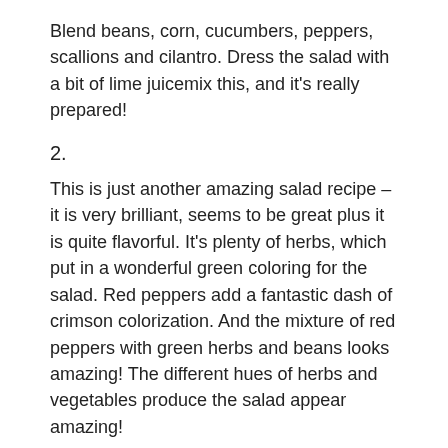Blend beans, corn, cucumbers, peppers, scallions and cilantro. Dress the salad with a bit of lime juicemix this, and it's really prepared!
2.
This is just another amazing salad recipe – it is very brilliant, seems to be great plus it is quite flavorful. It's plenty of herbs, which put in a wonderful green coloring for the salad. Red peppers add a fantastic dash of crimson colorization. And the mixture of red peppers with green herbs and beans looks amazing! The different hues of herbs and vegetables produce the salad appear amazing!
Posted in: Uncategorized
Tagged: smoothie recepty